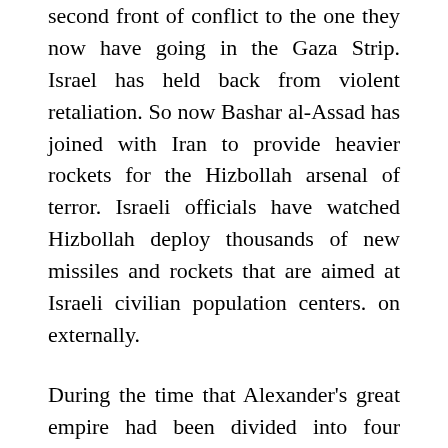second front of conflict to the one they now have going in the Gaza Strip. Israel has held back from violent retaliation. So now Bashar al-Assad has joined with Iran to provide heavier rockets for the Hizbollah arsenal of terror. Israeli officials have watched Hizbollah deploy thousands of new missiles and rockets that are aimed at Israeli civilian population centers. on externally.
During the time that Alexander's great empire had been divided into four sections, the Syrian section (Seleucid) held Israel some of the time, and the Egyptian section (Ptolemy) held it when they took it from the Syrians. Israel was at times a part of the Egyptian section, at times